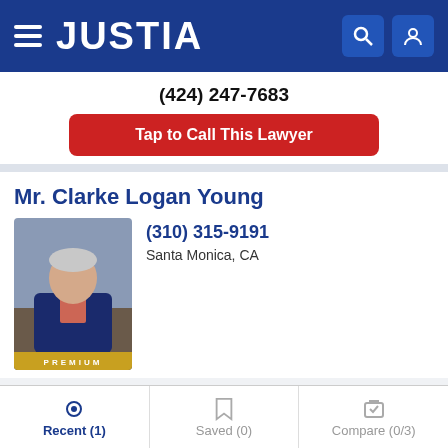JUSTIA
(424) 247-7683
Tap to Call This Lawyer
Mr. Clarke Logan Young
(310) 315-9191
Santa Monica, CA
[Figure (photo): Headshot of Mr. Clarke Logan Young, attorney, with PREMIUM badge]
Website
Call
Email
Brian K. Andrews
Recent (1)	Saved (0)	Compare (0/3)